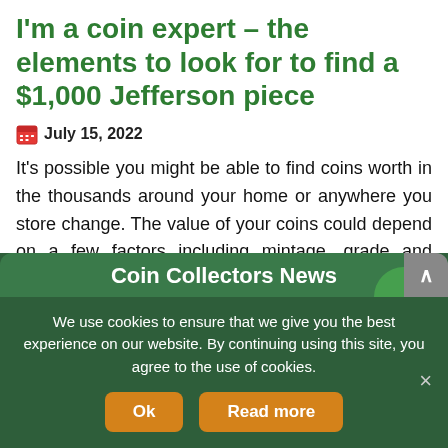I'm a coin expert – the elements to look for to find a $1,000 Jefferson piece
July 15, 2022
It's possible you might be able to find coins worth in the thousands around your home or anywhere you store change. The value of your coins could depend on a few factors including mintage, grade and condition, as well as errors. → Read more at the-sun.com
Coin Collectors News
We use cookies to ensure that we give you the best experience on our website. By continuing using this site, you agree to the use of cookies.